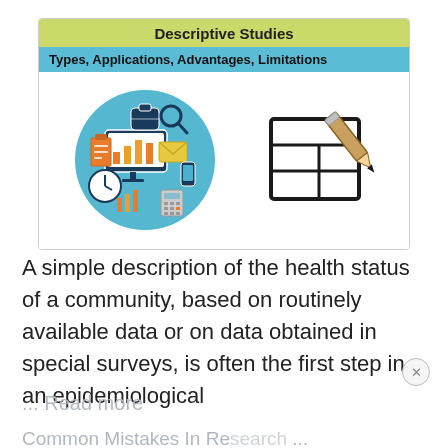[Figure (infographic): Card with yellow-green header 'Descriptive Studies', teal subtitle 'Types, Applications, Advantages, Limitations', and two images: a circular data analytics illustration on the left and a table-with-pencil icon on the right.]
A simple description of the health status of a community, based on routinely available data or on data obtained in special surveys, is often the first step in an epidemiological
... Read more
Common Mistakes In Research ...